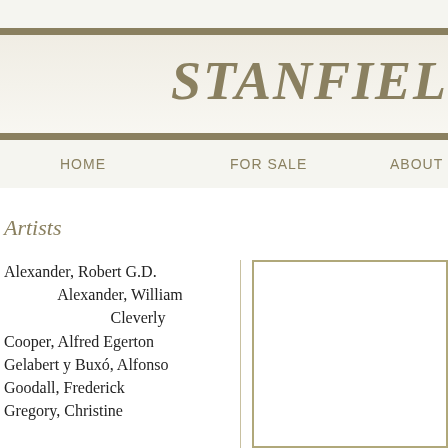STANFIEL
HOME   FOR SALE   ABOUT
Artists
Alexander, Robert G.D.
Alexander, William Cleverly
Cooper, Alfred Egerton
Gelabert y Buxó, Alfonso
Goodall, Frederick
Gregory, Christine